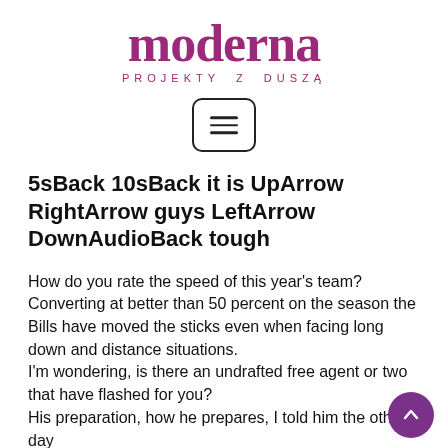[Figure (logo): Moderna logo with text 'moderna' in large purple serif font and subtitle 'PROJEKTY Z DUSZĄ' in spaced purple capitals]
[Figure (other): Hamburger menu icon: three horizontal lines inside a rounded rectangle border]
5sBack 10sBack it is UpArrow RightArrow guys LeftArrow DownAudioBack tough
How do you rate the speed of this year's team? Converting at better than 50 percent on the season the Bills have moved the sticks even when facing long down and distance situations.
I'm wondering, is there an undrafted free agent or two that have flashed for you?
His preparation, how he prepares, I told him the other day